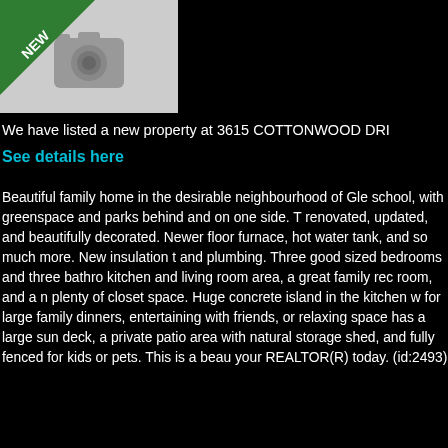[Figure (photo): Photo placeholder with camera icon and NEW badge/ribbon in green on top-left corner]
We have listed a new property at 3615 COTTONWOOD DRI...
See details here
Beautiful family home in the desirable neighbourhood of Gle... school, with greenspace and parks behind and on one side. T... renovated, updated, and beautifully decorated. Newer floor... furnace, hot water tank, and so much more. New insulation t... and plumbing. Three good sized bedrooms and three bathro... kitchen and living room area, a great family rec room, and a n... plenty of closet space. Huge concrete island in the kitchen w... for large family dinners, entertaining with friends, or relaxing ... space has a large sun deck, a private patio area with natural ... storage shed, and fully fenced for kids or pets. This is a beau... your REALTOR(R) today. (id:2493)